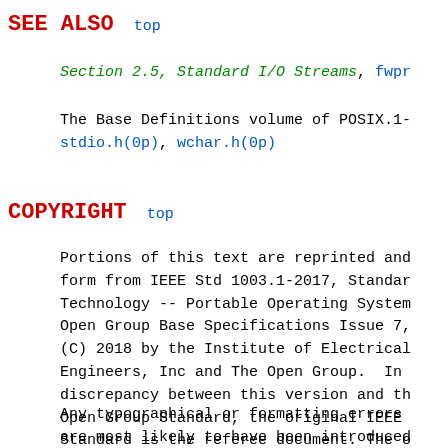SEE ALSO
Section 2.5, Standard I/O Streams, fwpr
The Base Definitions volume of POSIX.1-
stdio.h(0p), wchar.h(0p)
COPYRIGHT
Portions of this text are reprinted and reproduced in form from IEEE Std 1003.1-2017, Standard Technology -- Portable Operating System Open Group Base Specifications Issue 7, (C) 2018 by the Institute of Electrical Engineers, Inc and The Open Group.  In discrepancy between this version and th Open Group Standard, the original IEEE Standard is the referee document. The obtained online at http://www.opengroup
Any typographical or formatting errors are most likely to have been introduced the source files to man page format. To https://www.kernel.org/doc/man_pages/